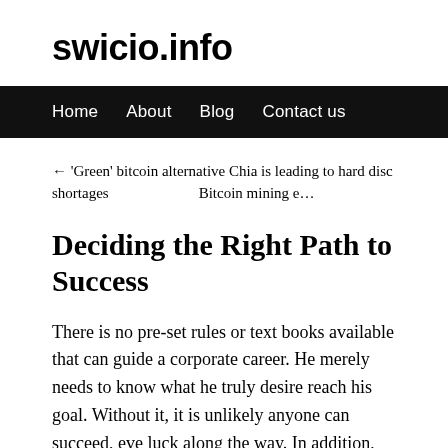swicio.info
Home   About   Blog   Contact us
← 'Green' bitcoin alternative Chia is leading to hard disc shortages    Bitcoin mining e…
Deciding the Right Path to Success
There is no pre-set rules or text books available that can guide a corporate career. He merely needs to know what he truly desire reach his goal. Without it, it is unlikely anyone can succeed, eve luck along the way. In addition, he needs to stay focus and cons distracted no matter what.
Keeping focused on your goal means that we're purposely fadin…